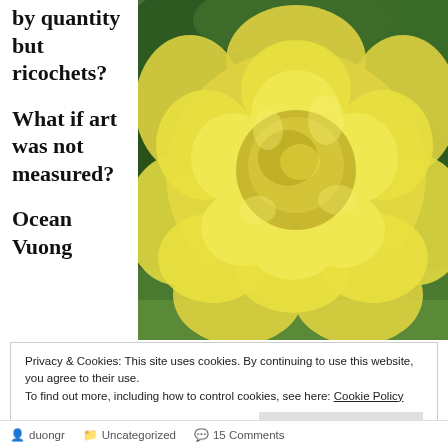by quantity but ricochets?

What if art was not measured?

Ocean Vuong
[Figure (photo): Close-up photograph of a large yellow rose bloom with green leaves in the background]
Privacy & Cookies: This site uses cookies. By continuing to use this website, you agree to their use.
To find out more, including how to control cookies, see here: Cookie Policy
Close and accept
duongr   Uncategorized   15 Comments